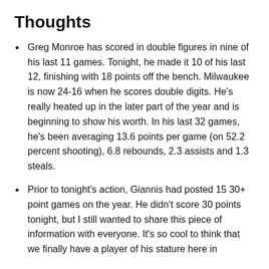Thoughts
Greg Monroe has scored in double figures in nine of his last 11 games. Tonight, he made it 10 of his last 12, finishing with 18 points off the bench. Milwaukee is now 24-16 when he scores double digits. He’s really heated up in the later part of the year and is beginning to show his worth. In his last 32 games, he’s been averaging 13.6 points per game (on 52.2 percent shooting), 6.8 rebounds, 2.3 assists and 1.3 steals.
Prior to tonight’s action, Giannis had posted 15 30+ point games on the year. He didn’t score 30 points tonight, but I still wanted to share this piece of information with everyone. It’s so cool to think that we finally have a player of his stature here in